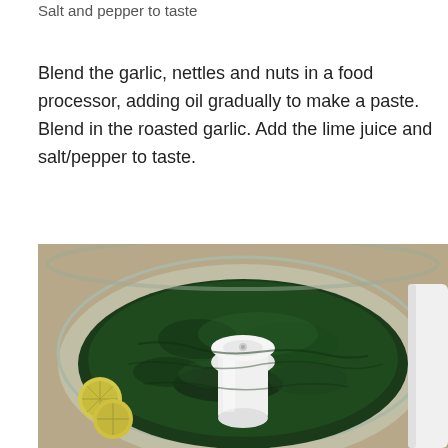Salt and pepper to taste
Blend the garlic, nettles and nuts in a food processor, adding oil gradually to make a paste. Blend in the roasted garlic. Add the lime juice and salt/pepper to taste.
[Figure (photo): Top-down view of a food processor bowl filled with finely chopped dark green herbs (nettles), with the white central blade assembly visible in the middle. Two lime/lemon slices visible on a granite countertop to the left, with a white food processor body visible on the right side.]